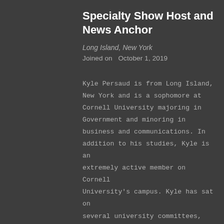Specialty Show Host and News Anchor
Long Island, New York
Joined on  October 1, 2019
Kyle Persaud is from Long Island, New York and is a sophomore at Cornell University majoring in Government and minoring in business and communications. In addition to his studies, Kyle is an extremely active member on Cornell University's campus. Kyle has sat on several university committees, including Cornell University's infrastructure Fund Commission, as